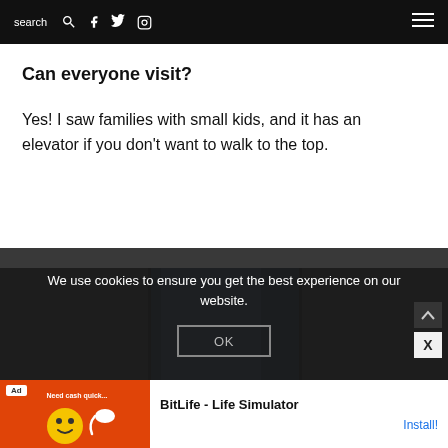search  [search icon] [facebook icon] [twitter icon] [instagram icon] [menu icon]
Can everyone visit?
Yes! I saw families with small kids, and it has an elevator if you don't want to walk to the top.
[Figure (screenshot): Cookie consent overlay on a dark background with text: 'We use cookies to ensure you get the best experience on our website.' and an OK button. An X close button is visible in the lower right corner.]
[Figure (photo): Dark image strip showing partial photos in the background behind the cookie overlay.]
We use cookies to ensure you get the best experience on our website.
OK
Ad  BitLife - Life Simulator  Install!